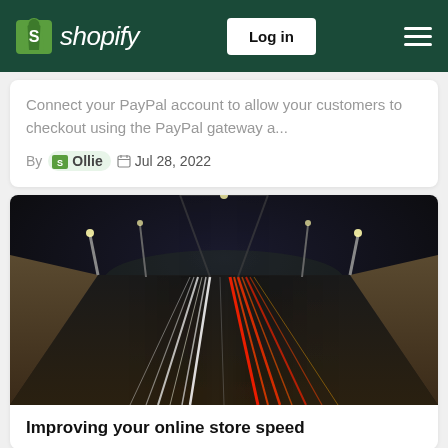Shopify — Log in
Connect your PayPal account to allow your customers to checkout using the PayPal gateway a...
By Ollie  Jul 28, 2022
[Figure (photo): Night-time long-exposure photo of a multi-lane highway with white and red light trails from passing vehicles, taken from a central overhead perspective.]
Improving your online store speed